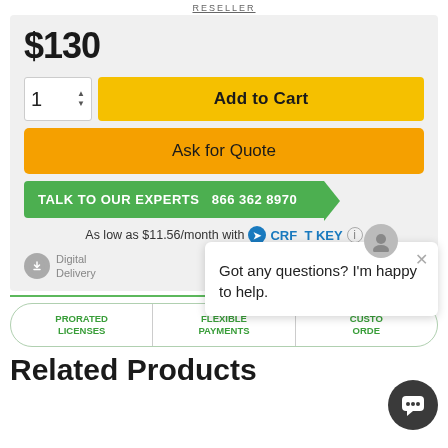RESELLER
$130
Add to Cart
Ask for Quote
TALK TO OUR EXPERTS  866 362 8970
As low as $11.56/month with CRF T KEY
Digital Delivery
Got any questions? I'm happy to help.
PRORATED LICENSES
FLEXIBLE PAYMENTS
CUSTO ORDER
Related Products